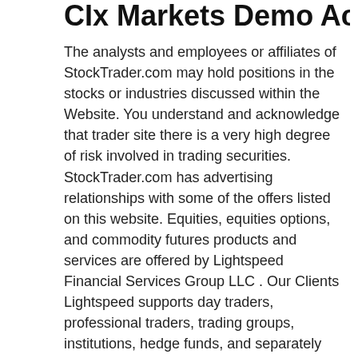CIx Markets Demo Account
The analysts and employees or affiliates of StockTrader.com may hold positions in the stocks or industries discussed within the Website. You understand and acknowledge that trader site there is a very high degree of risk involved in trading securities. StockTrader.com has advertising relationships with some of the offers listed on this website. Equities, equities options, and commodity futures products and services are offered by Lightspeed Financial Services Group LLC . Our Clients Lightspeed supports day traders, professional traders, trading groups, institutions, hedge funds, and separately managed accounts. There are five primary software platforms from which traders may choose, each providing different benefits.
The bid price is the highest price a buyer is willing to pay for a security or asset. As a rule, the difference between ask and bid prices is very small and amounts to no more than a few cents . This difference between the bid and ask price is called the spread. What is ask price has already been described above, but we will try to explain in more detail.